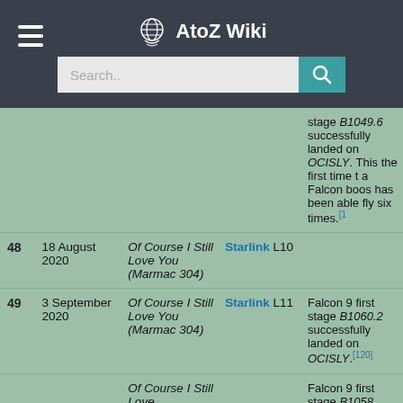AtoZ Wiki
| # | Date | Landing Ship | Payload | Notes |
| --- | --- | --- | --- | --- |
| 48 | 18 August 2020 | Of Course I Still Love You (Marmac 304) | Starlink L10 | stage B1049.6 successfully landed on OCISLY. This the first time t a Falcon boos has been able fly six times.[1 |
| 49 | 3 September 2020 | Of Course I Still Love You (Marmac 304) | Starlink L11 | Falcon 9 first stage B1060.2 successfully landed on OCISLY.[120] |
|  |  | Of Course I Still Love |  | Falcon 9 first stage B1058. |